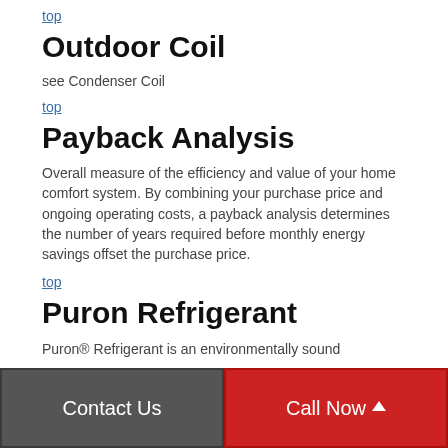top
Outdoor Coil
see Condenser Coil
top
Payback Analysis
Overall measure of the efficiency and value of your home comfort system. By combining your purchase price and ongoing operating costs, a payback analysis determines the number of years required before monthly energy savings offset the purchase price.
top
Puron Refrigerant
Puron® Refrigerant is an environmentally sound
Contact Us | Call Now